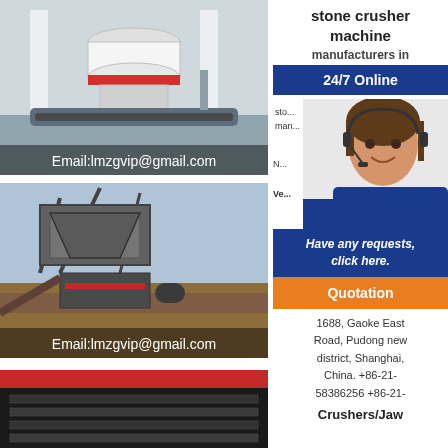[Figure (photo): Stone crusher machine in an industrial setting, cone crusher on tracked platform]
[Figure (photo): Stone crusher/jaw crusher machine outdoors at a mining or quarry site]
[Figure (photo): Red and black industrial machinery, partial view]
stone crusher machine manufacturers in
24/7 Online
[Figure (photo): Customer service agent woman wearing headset, smiling]
sto... man...
Ve...
Have any requests, click here.
Quotation
1688, Gaoke East Road, Pudong new district, Shanghai, China. +86-21-58386256 +86-21-
Crushers/Jaw